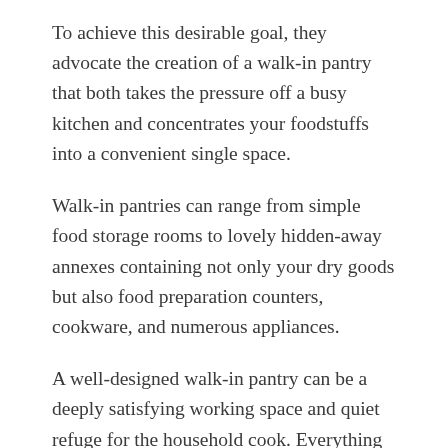To achieve this desirable goal, they advocate the creation of a walk-in pantry that both takes the pressure off a busy kitchen and concentrates your foodstuffs into a convenient single space.
Walk-in pantries can range from simple food storage rooms to lovely hidden-away annexes containing not only your dry goods but also food preparation counters, cookware, and numerous appliances.
A well-designed walk-in pantry can be a deeply satisfying working space and quiet refuge for the household cook. Everything is visible and immediately to hand.